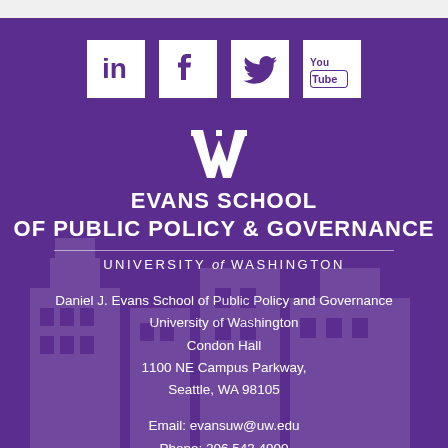[Figure (logo): Social media icons: LinkedIn, Facebook, Twitter, YouTube — white squares with purple icons on purple background]
[Figure (logo): University of Washington W logo in white, Evans School of Public Policy & Governance name, University of Washington wordmark]
Daniel J. Evans School of Public Policy and Governance
University of Washington
Condon Hall
1100 NE Campus Parkway,
Seattle, WA 98105
Email: evansuw@uw.edu
Phone: 206.543.4900
Fax: 206.543.1096